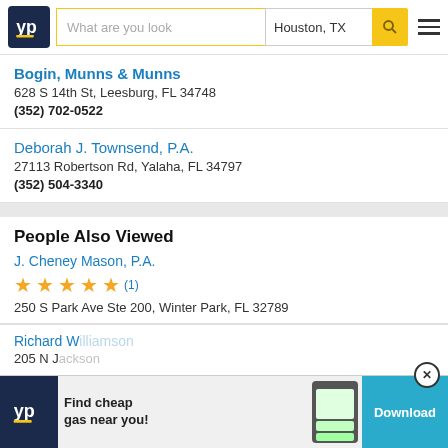YP | What are you look | Houston, TX
Bogin, Munns & Munns
628 S 14th St, Leesburg, FL 34748
(352) 702-0522
Deborah J. Townsend, P.A.
27113 Robertson Rd, Yalaha, FL 34797
(352) 504-3340
People Also Viewed
J. Cheney Mason, P.A.
★★★★★ (1)
250 S Park Ave Ste 200, Winter Park, FL 32789
Richard W. ... 
205 N J...
YP | Find cheap gas near you! | Download